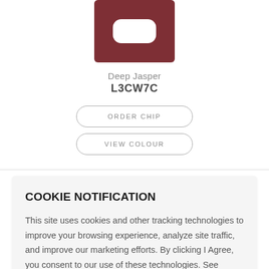[Figure (illustration): Color chip swatch showing Deep Jasper color — a dark red/burgundy square with a white rounded-rectangle shape centered within it]
Deep Jasper
L3CW7C
ORDER CHIP
VIEW COLOUR
COOKIE NOTIFICATION
This site uses cookies and other tracking technologies to improve your browsing experience, analyze site traffic, and improve our marketing efforts. By clicking I Agree, you consent to our use of these technologies. See